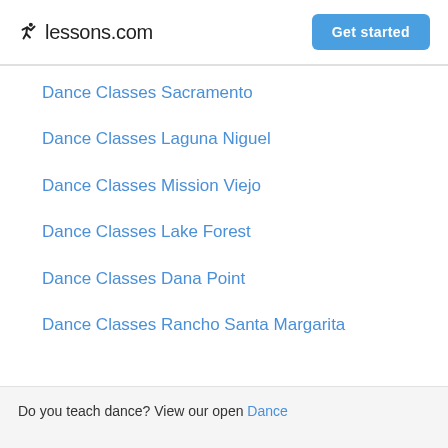lessons.com  Get started
Dance Classes Sacramento
Dance Classes Laguna Niguel
Dance Classes Mission Viejo
Dance Classes Lake Forest
Dance Classes Dana Point
Dance Classes Rancho Santa Margarita
Do you teach dance? View our open Dance